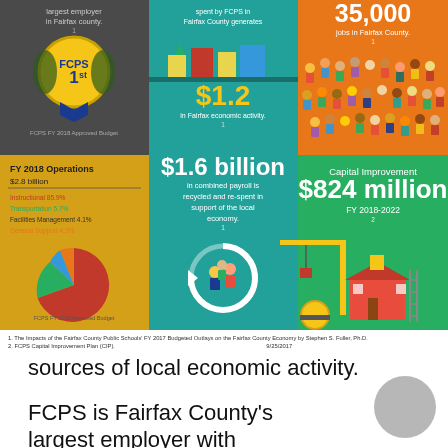[Figure (infographic): FCPS economic impact infographic showing 6 panels: FCPS 1st largest employer in Fairfax County, $1.2 in Fairfax economic activity, 35,000 jobs in Fairfax County, FY 2018 Operations $2.8 billion with pie chart, $1.6 billion combined payroll recycled in local economy, Capital Improvement $824 million FY 2018-2022]
1. The Impacts of the Fairfax County Public Schools' FY 2017 Budgeted Outlays on the Fairfax County Economy by Stephen S. Fuller, Ph.D. 2. FCPS Capital Improvement Plan (CIP). 9/25/2017
sources of local economic activity.
FCPS is Fairfax County's largest employer with approximately 27,200 full and part-time employees accounting for 4.1 percent of the